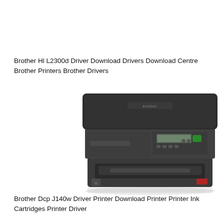Brother Hl L2300d Driver Download Drivers Download Centre Brother Printers Brother Drivers
[Figure (photo): Front view of a Brother DCP-J140W all-in-one inkjet printer/scanner in dark gray/black color, showing the flatbed scanner lid on top, control panel with buttons and small display, and paper tray at the bottom.]
Brother Dcp J140w Driver Printer Download Printer Printer Ink Cartridges Printer Driver